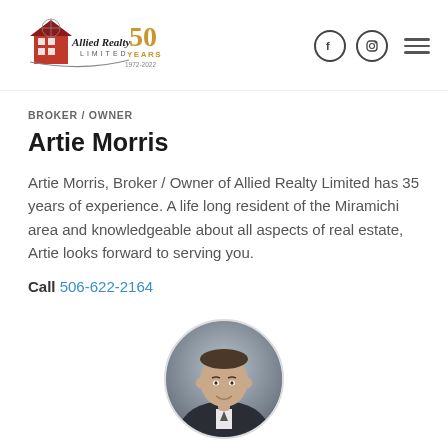[Figure (logo): Allied Realty Limited logo with '50 YEARS 1972-2022' gold text]
BROKER / OWNER
Artie Morris
Artie Morris, Broker / Owner of Allied Realty Limited has 35 years of experience. A life long resident of the Miramichi area and knowledgeable about all aspects of real estate, Artie looks forward to serving you.
Call 506-622-2164
[Figure (photo): Circular headshot photo of Artie Morris, a man in a dark suit, smiling]